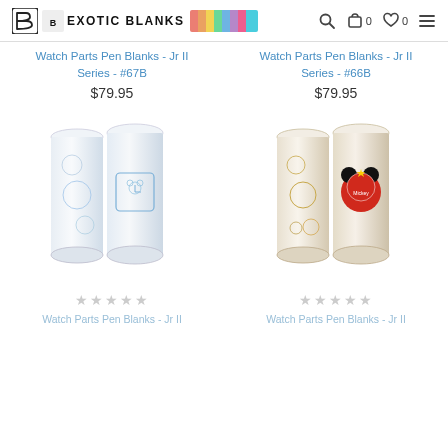Exotic Blanks
Watch Parts Pen Blanks - Jr II Series - #67B
$79.95
[Figure (photo): Two cylindrical pen blanks with blue Mickey Mouse watch parts design]
Watch Parts Pen Blanks - Jr II Series - #66B
$79.95
[Figure (photo): Two cylindrical pen blanks with red/gold Mickey Mouse watch parts design]
Watch Parts Pen Blanks - Jr II Series
Watch Parts Pen Blanks - Jr II Series